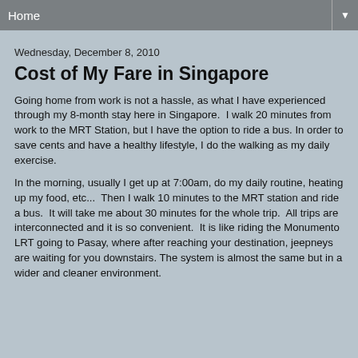Home
Wednesday, December 8, 2010
Cost of My Fare in Singapore
Going home from work is not a hassle, as what I have experienced through my 8-month stay here in Singapore.  I walk 20 minutes from work to the MRT Station, but I have the option to ride a bus. In order to save cents and have a healthy lifestyle, I do the walking as my daily exercise.
In the morning, usually I get up at 7:00am, do my daily routine, heating up my food, etc...  Then I walk 10 minutes to the MRT station and ride a bus.  It will take me about 30 minutes for the whole trip.  All trips are interconnected and it is so convenient.  It is like riding the Monumento LRT going to Pasay, where after reaching your destination, jeepneys are waiting for you downstairs. The system is almost the same but in a wider and cleaner environment.